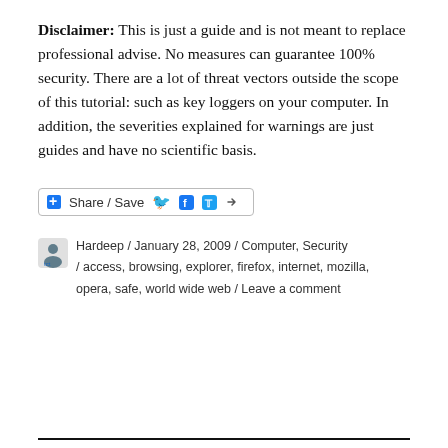Disclaimer: This is just a guide and is not meant to replace professional advise. No measures can guarantee 100% security. There are a lot of threat vectors outside the scope of this tutorial: such as key loggers on your computer. In addition, the severities explained for warnings are just guides and have no scientific basis.
[Figure (other): Share/Save social sharing button bar with Facebook, Twitter, and share icons]
Hardeep / January 28, 2009 / Computer, Security / access, browsing, explorer, firefox, internet, mozilla, opera, safe, world wide web / Leave a comment